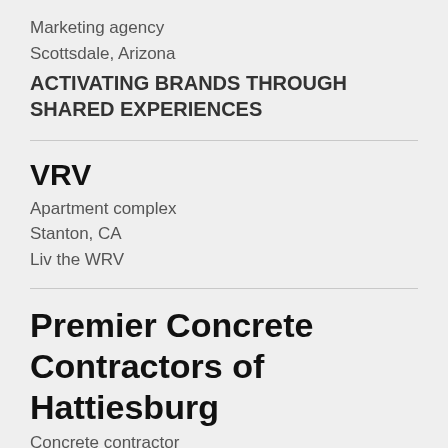Marketing agency
Scottsdale, Arizona
ACTIVATING BRANDS THROUGH SHARED EXPERIENCES
VRV
Apartment complex
Stanton, CA
Liv the WRV
Premier Concrete Contractors of Hattiesburg
Concrete contractor